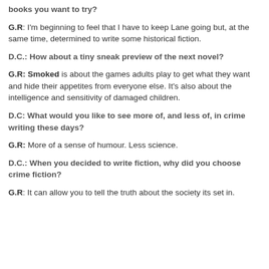books you want to try?
G.R: I'm beginning to feel that I have to keep Lane going but, at the same time, determined to write some historical fiction.
D.C.: How about a tiny sneak preview of the next novel?
G.R: Smoked is about the games adults play to get what they want and hide their appetites from everyone else. It's also about the intelligence and sensitivity of damaged children.
D.C: What would you like to see more of, and less of, in crime writing these days?
G.R: More of a sense of humour. Less science.
D.C.: When you decided to write fiction, why did you choose crime fiction?
G.R: It can allow you to tell the truth about the society its set in.